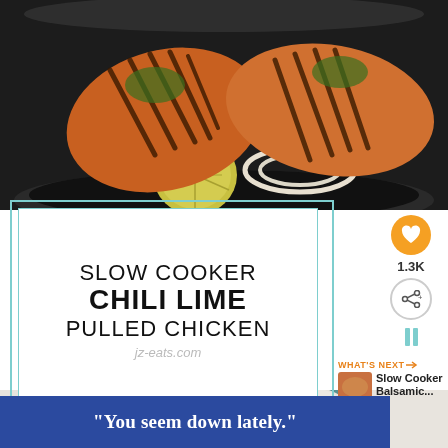[Figure (photo): Grilled chicken breasts with grill marks, herbs, onion slices, and a halved lime in a dark slow cooker pot]
SLOW COOKER
CHILI LIME
PULLED CHICKEN
jz-eats.com
[Figure (infographic): Orange heart/like button with share icon, 1.3K count, and teal pause bars on right sidebar]
[Figure (photo): Thumbnail of Slow Cooker Balsamic dish next to WHAT'S NEXT label]
[Figure (photo): Bottom photo showing a bowl with pulled chicken]
“You seem down lately.”